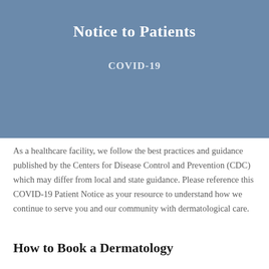Notice to Patients
COVID-19
As a healthcare facility, we follow the best practices and guidance published by the Centers for Disease Control and Prevention (CDC) which may differ from local and state guidance. Please reference this COVID-19 Patient Notice as your resource to understand how we continue to serve you and our community with dermatological care.
How to Book a Dermatology